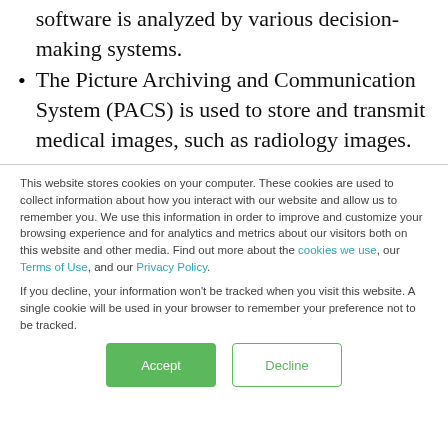software is analyzed by various decision-making systems.
The Picture Archiving and Communication System (PACS) is used to store and transmit medical images, such as radiology images.
This website stores cookies on your computer. These cookies are used to collect information about how you interact with our website and allow us to remember you. We use this information in order to improve and customize your browsing experience and for analytics and metrics about our visitors both on this website and other media. Find out more about the cookies we use, our Terms of Use, and our Privacy Policy.
If you decline, your information won't be tracked when you visit this website. A single cookie will be used in your browser to remember your preference not to be tracked.